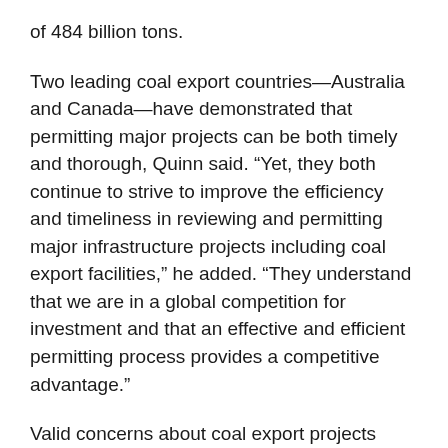of 484 billion tons.
Two leading coal export countries—Australia and Canada—have demonstrated that permitting major projects can be both timely and thorough, Quinn said. “Yet, they both continue to strive to improve the efficiency and timeliness in reviewing and permitting major infrastructure projects including coal export facilities,” he added. “They understand that we are in a global competition for investment and that an effective and efficient permitting process provides a competitive advantage.”
Valid concerns about coal export projects should be fully addressed, Quinn added, in an apparent reference to several coal export terminal projects in Oregon and Washington that have run into stiff environmental group opposition and a go-slow regulatory review regime. “At the same time, they should not serve as an excuse to trap projects in a limbo of duplicative, unpredictable and